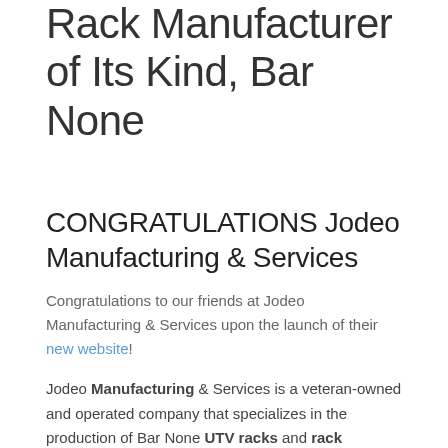Rack Manufacturer of Its Kind, Bar None
CONGRATULATIONS Jodeo Manufacturing & Services
Congratulations to our friends at Jodeo Manufacturing & Services upon the launch of their new website!
Jodeo Manufacturing & Services is a veteran-owned and operated company that specializes in the production of Bar None UTV racks and rack accessories such as barbed wire spooling and the ever-popular Bar None basket.
The Bar None Rack is a full length, one of a kind overhead